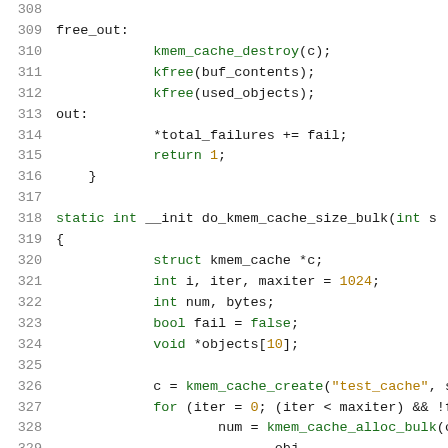[Figure (screenshot): Source code listing in C showing lines 308-329 of a kernel slab cache test function, with syntax highlighting. Lines include free_out label, kmem_cache_destroy, kfree calls, out label, total_failures increment, return statement, closing brace, blank line, a static int __init do_kmem_cache_size_bulk function definition, and local variable declarations.]